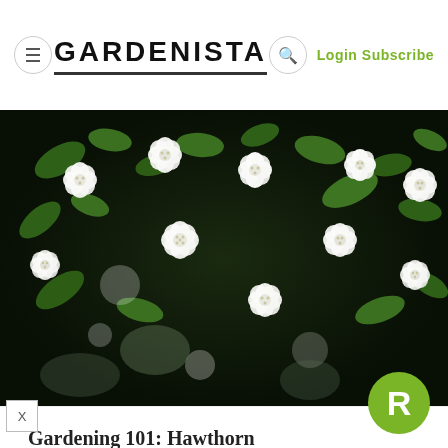GARDENISTA — Login Subscribe
[Figure (photo): Close-up photograph of white hawthorn blossoms with green leaves against a dark background]
Gardening 101: Hawthorn